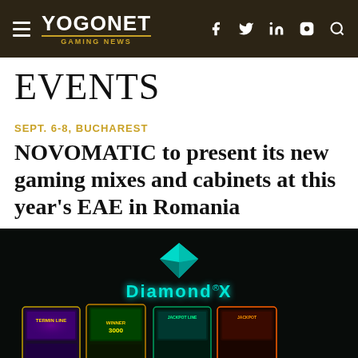YOGONET GAMING NEWS
EVENTS
SEPT. 6-8, BUCHAREST
NOVOMATIC to present its new gaming mixes and cabinets at this year's EAE in Romania
[Figure (photo): Diamond X gaming cabinets — four slot machine cabinets with colorful displays showing the Diamond X brand logo with a teal diamond gem on a dark background]